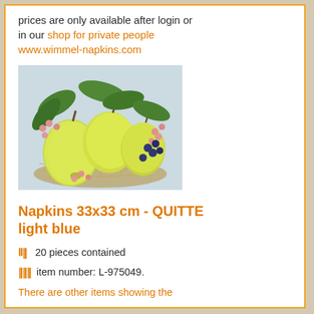prices are only available after login or in our shop for private people www.wimmel-napkins.com
[Figure (photo): Photo of decorative napkins with pears and berries in a wire basket, with green leaves and pink and blue berries.]
Napkins 33x33 cm - QUITTE light blue
20 pieces contained
item number: L-975049.
There are other items showing the